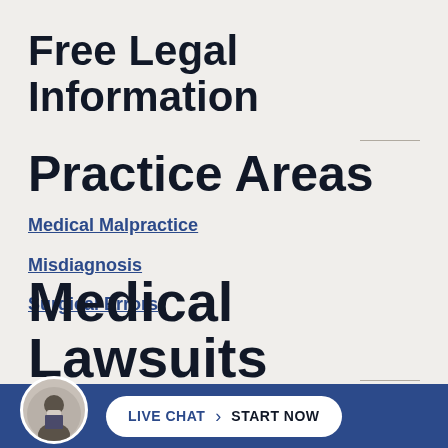Free Legal Information
Practice Areas
Medical Malpractice
Misdiagnosis
Surgical Errors
Medical Lawsuits
LIVE CHAT  START NOW